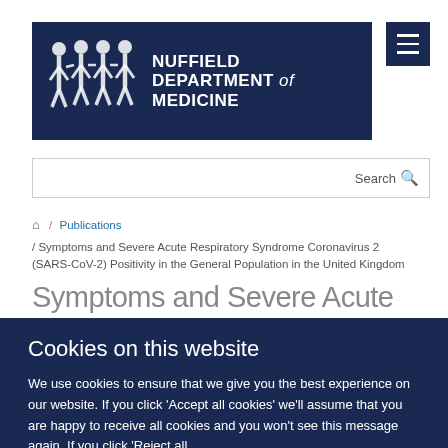[Figure (logo): Nuffield Department of Medicine logo with four human figure silhouettes on dark navy background]
Search
/ Publications / Symptoms and Severe Acute Respiratory Syndrome Coronavirus 2 (SARS-CoV-2) Positivity in the General Population in the United Kingdom
Symptoms and Severe Acute Respiratory
Cookies on this website
We use cookies to ensure that we give you the best experience on our website. If you click 'Accept all cookies' we'll assume that you are happy to receive all cookies and you won't see this message again. If you click 'Reject all